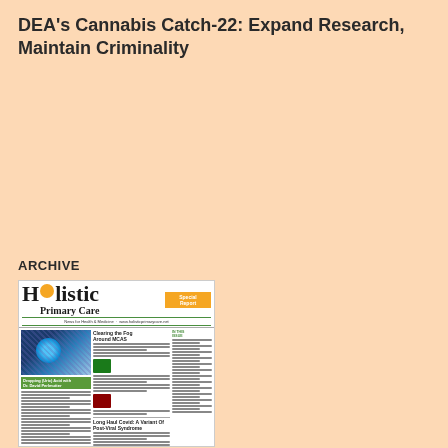DEA's Cannabis Catch-22: Expand Research, Maintain Criminality
ARCHIVE
[Figure (illustration): Thumbnail image of Holistic Primary Care newspaper front page, showing articles including 'Clearing the Fog Around MCAS', 'Dropping (Uric) Acid with Dr. David Perlmutter', and 'Long Haul Covid: A Variant Of Post-Viral Syndrome'. The masthead shows 'Holistic Primary Care' with orange sun logo and a Special Report banner.]